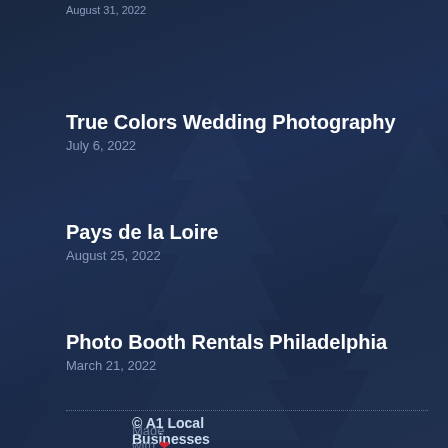August 31, 2022
True Colors Wedding Photography
July 6, 2022
Pays de la Loire
August 25, 2022
Photo Booth Rentals Philadelphia
March 21, 2022
© A1 Local Businesses
Made with ❤ Citation Vault